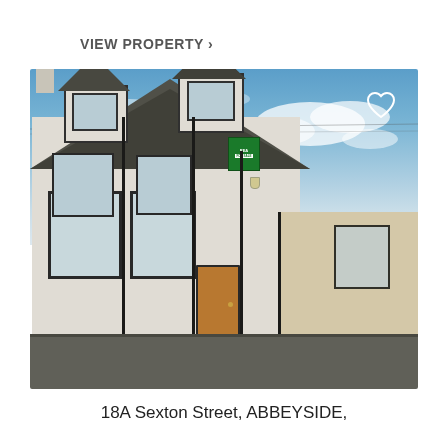VIEW PROPERTY >
[Figure (photo): Exterior photograph of a two-storey white-rendered terraced house with grey slate dormer roofs, wooden front door, and a 'For Sale' sign. Adjacent lower building to the right is beige-rendered.]
18A Sexton Street, ABBEYSIDE,